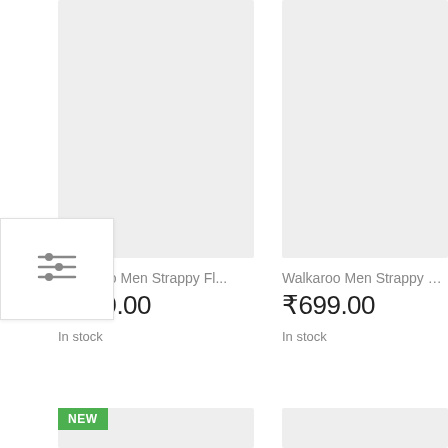[Figure (screenshot): Filter/sort icon button with three horizontal sliders, shown as a small widget overlaid on the left edge]
[Figure (photo): Grey placeholder image for first product (Walkaroo Men Strappy Fl...)]
Walkaroo Men Strappy Fl...
₹649.00
In stock
[Figure (photo): Grey placeholder image for second product (Walkaroo Men Strappy Fl...)]
Walkaroo Men Strappy Fl...
₹699.00
In stock
[Figure (photo): Grey placeholder image bottom-left with NEW badge]
[Figure (photo): Grey placeholder image bottom-right]